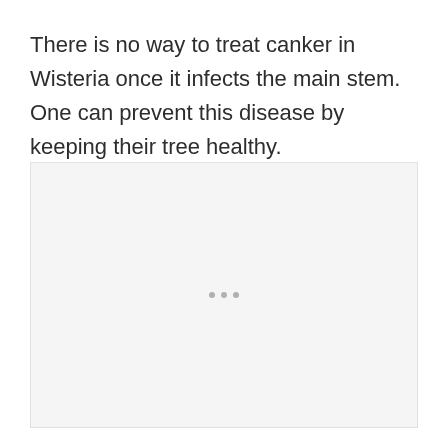There is no way to treat canker in Wisteria once it infects the main stem. One can prevent this disease by keeping their tree healthy.
[Figure (other): Image placeholder with loading indicator (three dots), representing an image that has not yet loaded.]